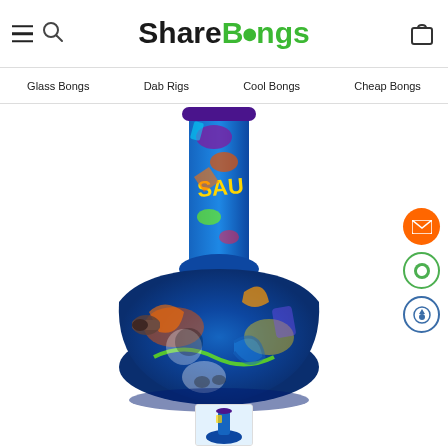ShareBongs — Glass Bongs, Dab Rigs, Cool Bongs, Cheap Bongs
[Figure (screenshot): ShareBongs website header with hamburger menu, search icon, logo (Share in black, Bongs in green), and cart icon]
[Figure (photo): Colorful graffiti-style silicone bong with blue, green, orange and yellow cartoon graphics. Beaker-style base with narrow neck tube. The bong is displayed against a white background.]
[Figure (photo): Small thumbnail of the same colorful silicone bong at the bottom of the page]